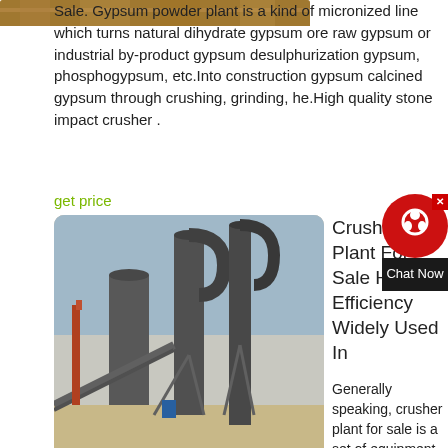[Figure (photo): Partial top image showing what appears to be earth/soil material]
Sale. Gypsum powder plant is a kind of micronized line which turns natural dihydrate gypsum ore raw gypsum or industrial by-product gypsum desulphurization gypsum, phosphogypsum, etc.Into construction gypsum calcined gypsum through crushing, grinding, he.High quality stone impact crusher .
get price
[Figure (photo): Industrial crusher plant machinery with large cylindrical equipment, conveyors, and dust collectors at a mining/quarry site. Date stamp: 2012/08/09 12:30]
Crusher Plant For Sale High Efficiency Widely Used In
Generally speaking, crusher plant for sale is a set of equipment combined together.
There are many types of crushing plant for sale and can be classified as equipment configuration and materials. To classify as materials, there are quarry crushing plant, coal crushing plant, sand crusher plant, limestone crushing plant, iron ore crushing plant, and other mining...